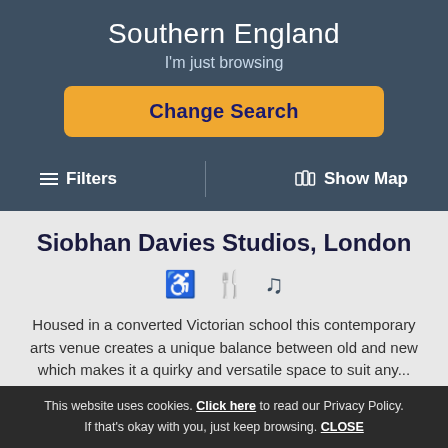Southern England
I'm just browsing
Change Search
☰ Filters
🗺 Show Map
Siobhan Davies Studios, London
[Figure (infographic): Accessibility, restaurant, and music icons]
Housed in a converted Victorian school this contemporary arts venue creates a unique balance between old and new which makes it a quirky and versatile space to suit any...
[Figure (infographic): 4 gold stars rating with review count (4)]
View
This website uses cookies. Click here to read our Privacy Policy. If that's okay with you, just keep browsing. CLOSE